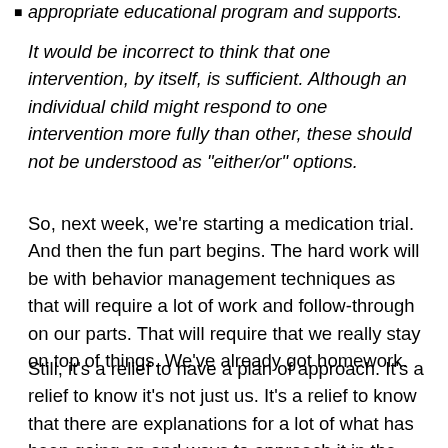appropriate educational program and supports.
It would be incorrect to think that one intervention, by itself, is sufficient. Although an individual child might respond to one intervention more fully than other, these should not be understood as "either/or" options.
So, next week, we're starting a medication trial. And then the fun part begins. The hard work will be with behavior management techniques as that will require a lot of work and follow-through on our parts. That will require that we really stay on top of things. We've already got homework.
Still, it's a relief to have a plan of approach. It's a relief to know it's not just us. It's a relief to know that there are explanations for a lot of what has been going on and ways to approach it in the future. Because honestly? I was running out of ideas.